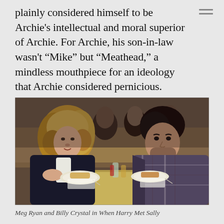plainly considered himself to be Archie's intellectual and moral superior of Archie. For Archie, his son-in-law wasn't “Mike” but “Meathead,” a mindless mouthpiece for an ideology that Archie considered pernicious.
[Figure (photo): A still from When Harry Met Sally showing a woman (Meg Ryan) with curly blonde hair in a dark jacket seated at a diner table across from a man (Billy Crystal) with dark hair and beard wearing a plaid shirt. They are having a conversation at a restaurant table with plates of food in front of them. Other diners are visible in the background.]
Meg Ryan and Billy Crystal in When Harry Met Sally